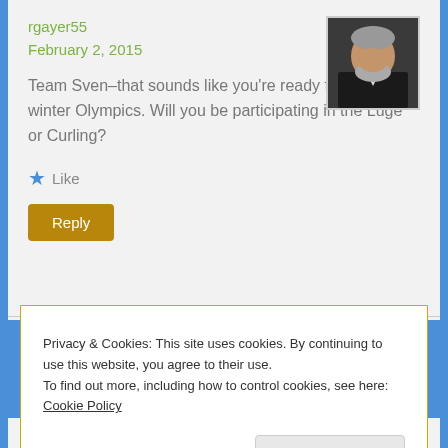rgayer55
February 2, 2015
[Figure (photo): User avatar photo showing a bearded man in a dark jacket]
Team Sven–that sounds like you're ready for the winter Olympics. Will you be participating in the Luge or Curling?
Like
Reply
Privacy & Cookies: This site uses cookies. By continuing to use this website, you agree to their use.
To find out more, including how to control cookies, see here: Cookie Policy
Close and accept
Like